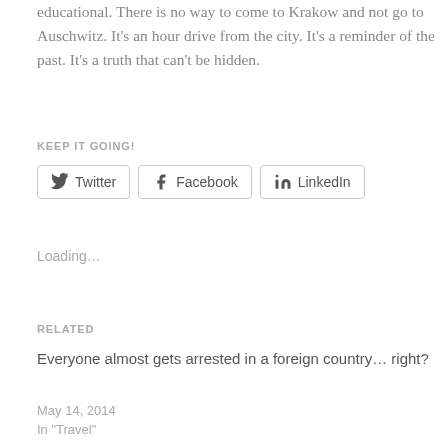educational. There is no way to come to Krakow and not go to Auschwitz. It's an hour drive from the city. It's a reminder of the past. It's a truth that can't be hidden.
KEEP IT GOING!
[Figure (other): Social sharing buttons: Twitter, Facebook, LinkedIn]
Loading…
RELATED
Everyone almost gets arrested in a foreign country… right?
May 14, 2014
In "Travel"